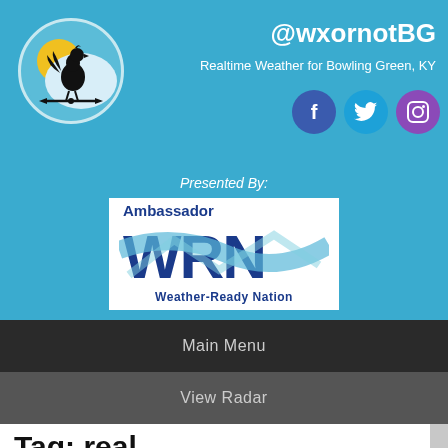[Figure (logo): Weather vane rooster logo in a circle]
@wxornotBG
Realtime Weather for Bowling Green, KY
[Figure (logo): Social media icons: Facebook, Twitter, Instagram]
Presented By:
[Figure (logo): Ambassador WRN Weather-Ready Nation logo]
Main Menu
View Radar
Tag: real